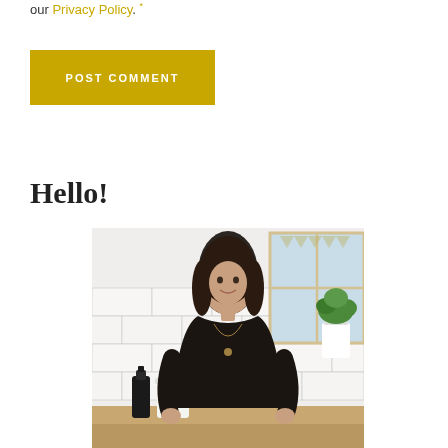our Privacy Policy. *
POST COMMENT
Hello!
[Figure (photo): A woman with long dark hair wearing a black patterned top standing in a kitchen with white subway tile backsplash, a window with plants, and kitchen items on a wooden counter.]